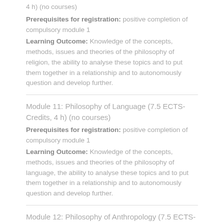4 h) (no courses)
Prerequisites for registration: positive completion of compulsory module 1
Learning Outcome: Knowledge of the concepts, methods, issues and theories of the philosophy of religion, the ability to analyse these topics and to put them together in a relationship and to autonomously question and develop further.
Module 11: Philosophy of Language (7.5 ECTS-Credits, 4 h) (no courses)
Prerequisites for registration: positive completion of compulsory module 1
Learning Outcome: Knowledge of the concepts, methods, issues and theories of the philosophy of language, the ability to analyse these topics and to put them together in a relationship and to autonomously question and develop further.
Module 12: Philosophy of Anthropology (7.5 ECTS-